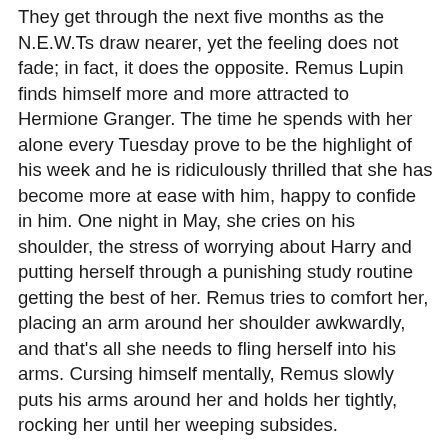They get through the next five months as the N.E.W.Ts draw nearer, yet the feeling does not fade; in fact, it does the opposite. Remus Lupin finds himself more and more attracted to Hermione Granger. The time he spends with her alone every Tuesday prove to be the highlight of his week and he is ridiculously thrilled that she has become more at ease with him, happy to confide in him. One night in May, she cries on his shoulder, the stress of worrying about Harry and putting herself through a punishing study routine getting the best of her. Remus tries to comfort her, placing an arm around her shoulder awkwardly, and that's all she needs to fling herself into his arms. Cursing himself mentally, Remus slowly puts his arms around her and holds her tightly, rocking her until her weeping subsides.
When she is quiet, he releases his grip on her, although he doesn't drop his arms and she doesn't appear to want to move. "Are you all right?" he whispers in her ear. He feels her nod and can't resist pressing his lips lightly against her temple, closing his eyes and breathing in her scent. "I...